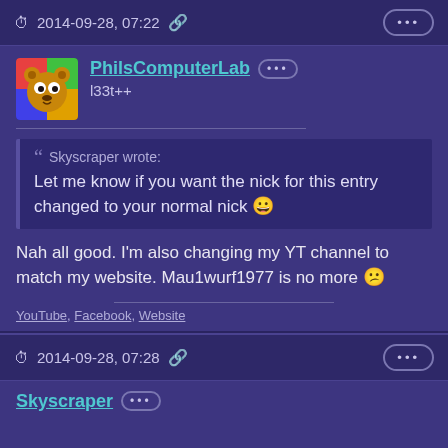2014-09-28, 07:22
PhilsComputerLab
l33t++
Skyscraper wrote: Let me know if you want the nick for this entry changed to your normal nick 😀
Nah all good. I'm also changing my YT channel to match my website. Mau1wurf1977 is no more 😕
YouTube, Facebook, Website
2014-09-28, 07:28
Skyscraper